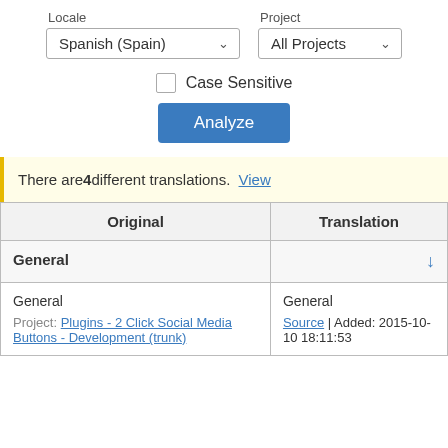[Figure (screenshot): UI controls: Locale dropdown set to 'Spanish (Spain)', Project dropdown set to 'All Projects', Case Sensitive checkbox (unchecked), and an Analyze button]
There are 4 different translations. View
| Original | Translation |
| --- | --- |
| General | ↓ |
| General
Project: Plugins - 2 Click Social Media Buttons - Development (trunk) | General
Source | Added: 2015-10-10 18:11:53 |